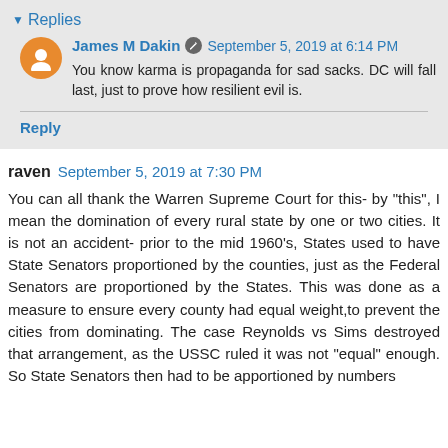Replies
James M Dakin  September 5, 2019 at 6:14 PM
You know karma is propaganda for sad sacks. DC will fall last, just to prove how resilient evil is.
Reply
raven  September 5, 2019 at 7:30 PM
You can all thank the Warren Supreme Court for this- by "this", I mean the domination of every rural state by one or two cities. It is not an accident- prior to the mid 1960's, States used to have State Senators proportioned by the counties, just as the Federal Senators are proportioned by the States. This was done as a measure to ensure every county had equal weight,to prevent the cities from dominating. The case Reynolds vs Sims destroyed that arrangement, as the USSC ruled it was not "equal" enough. So State Senators then had to be apportioned by numbers